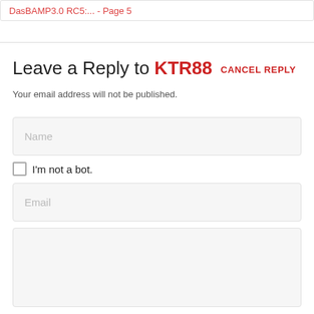DasBAMP3.0 RC5:... - Page 5
Leave a Reply to KTR88   CANCEL REPLY
Your email address will not be published.
Name
I'm not a bot.
Email